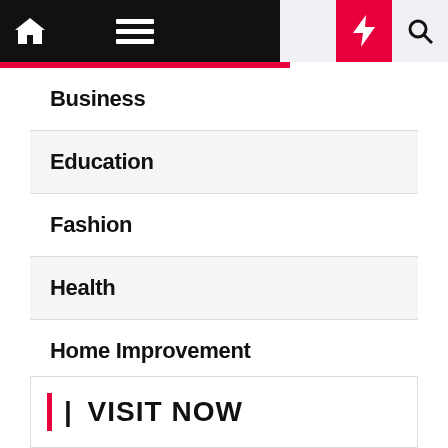Navigation bar with home icon, hamburger menu, moon icon, lightning bolt (red), search icon
Business
Education
Fashion
Health
Home Improvement
Law
Technology
Travel
|| VISIT NOW